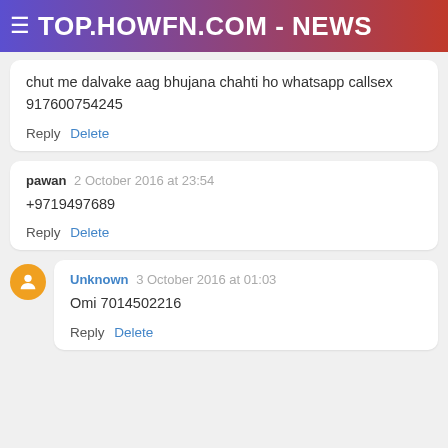≡ TOP.HOWFN.COM - NEWS
chut me dalvake aag bhujana chahti ho whatsapp callsex 917600754245
Reply  Delete
pawan  2 October 2016 at 23:54
+9719497689
Reply  Delete
Unknown  3 October 2016 at 01:03
Omi 7014502216
Reply  Delete